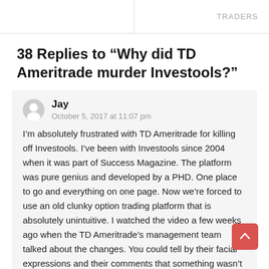TRADERS
38 Replies to “Why did TD Ameritrade murder Investools?”
Jay
October 5, 2017 at 11:07 pm

I’m absolutely frustrated with TD Ameritrade for killing off Investools. I’ve been with Investools since 2004 when it was part of Success Magazine. The platform was pure genius and developed by a PHD. One place to go and everything on one page. Now we’re forced to use an old clunky option trading platform that is absolutely unintuitive. I watched the video a few weeks ago when the TD Ameritrade’s management team talked about the changes. You could tell by their facial expressions and their comments that something wasn’t right. None